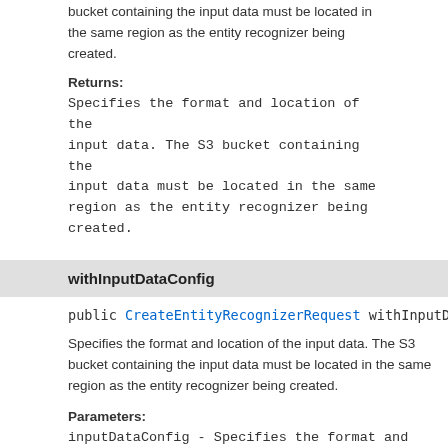bucket containing the input data must be located in the same region as the entity recognizer being created.
Returns:
Specifies the format and location of the input data. The S3 bucket containing the input data must be located in the same region as the entity recognizer being created.
withInputDataConfig
public CreateEntityRecognizerRequest withInputDataConfig
Specifies the format and location of the input data. The S3 bucket containing the input data must be located in the same region as the entity recognizer being created.
Parameters:
inputDataConfig - Specifies the format and location of the input data. The S3 bucket containing the input data must be located in the same region as the entity recognizer